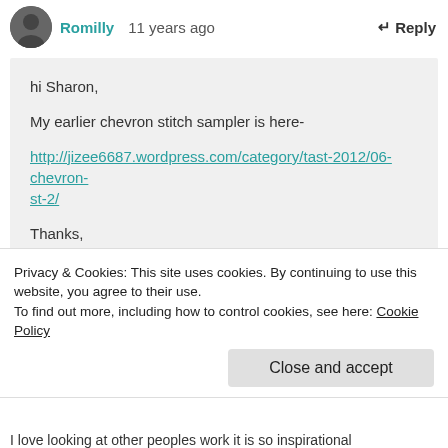Romilly   11 years ago   ↵ Reply
hi Sharon,

My earlier chevron stitch sampler is here-

http://jizee6687.wordpress.com/category/tast-2012/06-chevron-st-2/

Thanks,

Chitra
chitra gangadharan   11 years ago   ↵ Reply
Privacy & Cookies: This site uses cookies. By continuing to use this website, you agree to their use.
To find out more, including how to control cookies, see here: Cookie Policy
Close and accept
I love looking at other peoples work it is so inspirational